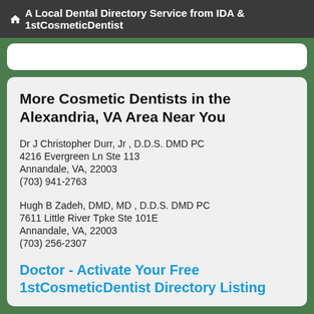A Local Dental Directory Service from IDA & 1stCosmeticDentist
More Cosmetic Dentists in the Alexandria, VA Area Near You
Dr J Christopher Durr, Jr , D.D.S. DMD PC
4216 Evergreen Ln Ste 113
Annandale, VA, 22003
(703) 941-2763
Hugh B Zadeh, DMD, MD , D.D.S. DMD PC
7611 Little River Tpke Ste 101E
Annandale, VA, 22003
(703) 256-2307
Doctor - Activate Your Free 1stCosmeticDentist Directory Listing